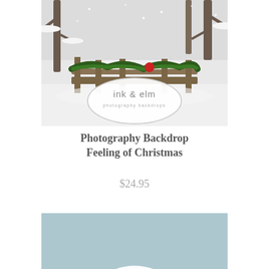[Figure (photo): Outdoor winter snow scene showing a wooden fence decorated with evergreen garland and a red ornament, heavily laden with snow. A white oval logo watermark reads 'ink & elm photography backdrops' overlaid in the center of the image.]
Photography Backdrop Feeling of Christmas
$24.95
[Figure (photo): Light blue/teal textured background with white snowflake or starburst patterns scattered across it, partially showing a circular cutout shape at the bottom center.]